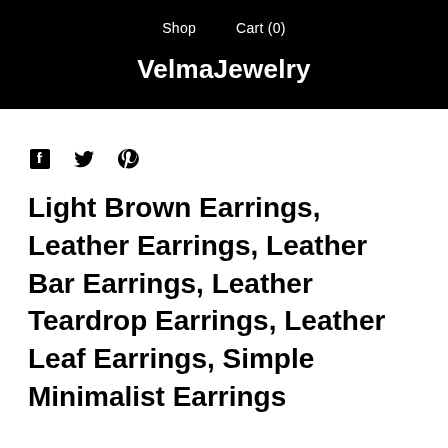Shop   Cart (0)
VelmaJewelry
[Figure (infographic): Social media icons: Facebook, Twitter, Pinterest]
Light Brown Earrings, Leather Earrings, Leather Bar Earrings, Leather Teardrop Earrings, Leather Leaf Earrings, Simple Minimalist Earrings